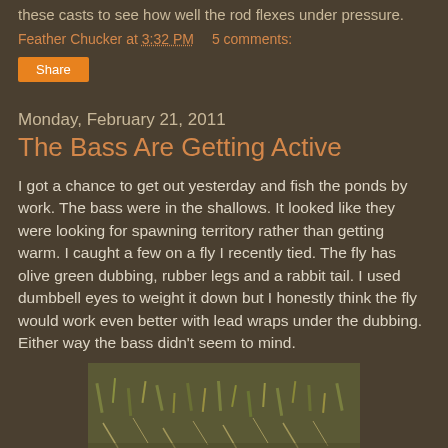these casts to see how well the rod flexes under pressure.
Feather Chucker at 3:32 PM    5 comments:
Share
Monday, February 21, 2011
The Bass Are Getting Active
I got a chance to get out yesterday and fish the ponds by work. The bass were in the shallows. It looked like they were looking for spawning territory rather than getting warm. I caught a few on a fly I recently tied. The fly has olive green dubbing, rubber legs and a rabbit tail. I used dumbbell eyes to weight it down but I honestly think the fly would work even better with lead wraps under the dubbing. Either way the bass didn't seem to mind.
[Figure (photo): Photo of grass/ground cover, showing dried and green grasses mixed together]